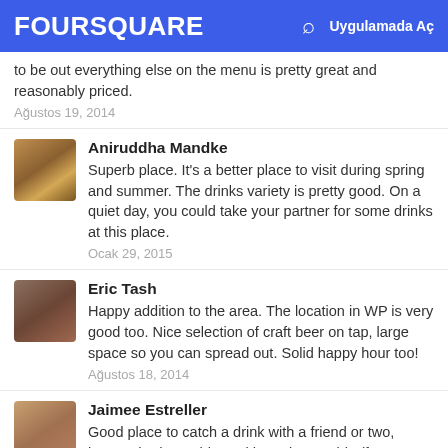FOURSQUARE  Uygulamada Aç
to be out everything else on the menu is pretty great and reasonably priced.
Ağustos 19, 2014
Aniruddha Mandke
Superb place. It's a better place to visit during spring and summer. The drinks variety is pretty good. On a quiet day, you could take your partner for some drinks at this place.
Ocak 29, 2015
Eric Tash
Happy addition to the area. The location in WP is very good too. Nice selection of craft beer on tap, large space so you can spread out. Solid happy hour too!
Ağustos 18, 2014
Jaimee Estreller
Good place to catch a drink with a friend or two, haven't had a problem with getting a table (for service) or a seat at the bar. For football, ask them to turn sound on. Food is okay &!a bit pricey.
Aralık 16, 2015
Jason Sherman
The best...